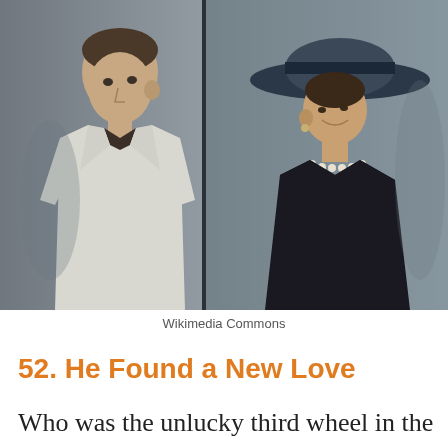[Figure (photo): A film still showing a man in a white jacket on the left and a woman in a black dress and wide-brimmed hat on the right, facing each other. The image is split into two panels with a dark vertical divider.]
Wikimedia Commons
52. He Found a New Love
Who was the unlucky third wheel in the